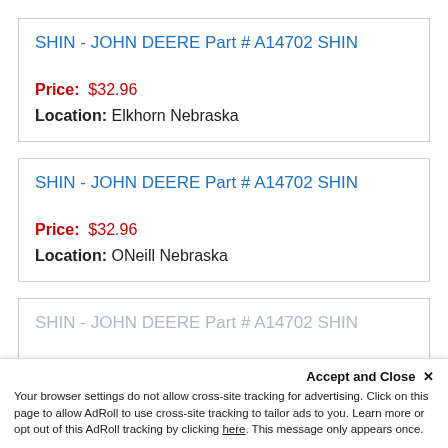SHIN - JOHN DEERE Part # A14702 SHIN
Price: $32.96
Location: Elkhorn Nebraska
SHIN - JOHN DEERE Part # A14702 SHIN
Price: $32.96
Location: ONeill Nebraska
SHIN - JOHN DEERE Part # A14702 SHIN
Accept and Close ×
Your browser settings do not allow cross-site tracking for advertising. Click on this page to allow AdRoll to use cross-site tracking to tailor ads to you. Learn more or opt out of this AdRoll tracking by clicking here. This message only appears once.